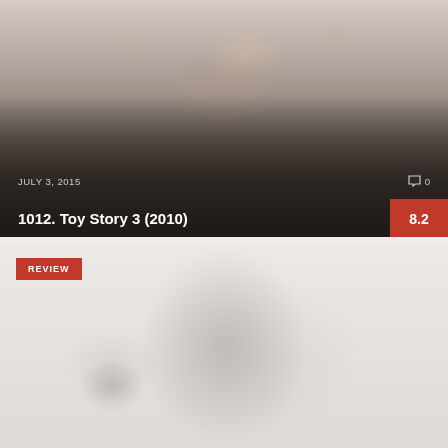[Figure (screenshot): Toy Story 3 movie poster/banner with animated characters including Woody, Buzz Lightyear and other toys, overlaid with dark gradient. Shows date JULY 3, 2015, comment count 0, title '1012. Toy Story 3 (2010)' and score badge 8.2]
JULY 3, 2015
0
1012. Toy Story 3 (2010)
8.2
[Figure (photo): Blurred/hazy photo of what appears to be a large boulder or rock formation in foggy conditions, with a red REVIEW badge overlaid in the top left corner]